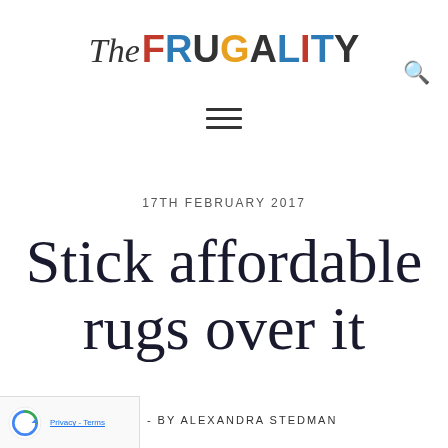The FRUGALITY
[Figure (other): Hamburger menu icon (three horizontal lines)]
17TH FEBRUARY 2017
Stick affordable rugs over it
LIFE - BY ALEXANDRA STEDMAN